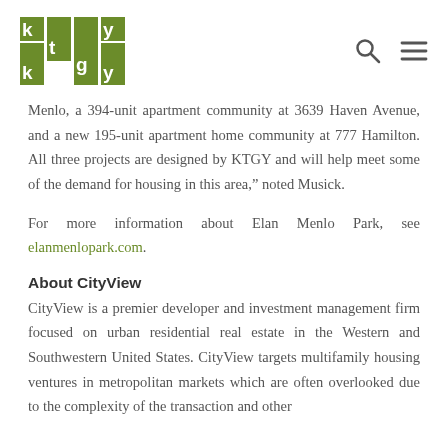ktgy [logo with search and menu icons]
Menlo, a 394-unit apartment community at 3639 Haven Avenue, and a new 195-unit apartment home community at 777 Hamilton. All three projects are designed by KTGY and will help meet some of the demand for housing in this area,” noted Musick.
For more information about Elan Menlo Park, see elanmenlopark.com.
About CityView
CityView is a premier developer and investment management firm focused on urban residential real estate in the Western and Southwestern United States. CityView targets multifamily housing ventures in metropolitan markets which are often overlooked due to the complexity of the transaction and other